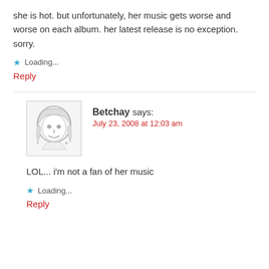she is hot. but unfortunately, her music gets worse and worse on each album. her latest release is no exception. sorry.
★ Loading...
Reply
[Figure (illustration): Cartoon avatar of a woman with long hair, smiling, hand-drawn style]
Betchay says:
July 23, 2008 at 12:03 am
LOL... i'm not a fan of her music
★ Loading...
Reply